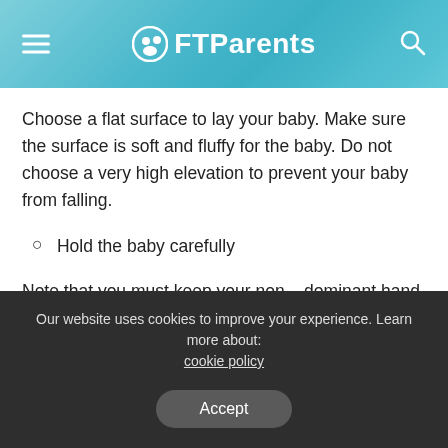FTParents
Choose a flat surface to lay your baby. Make sure the surface is soft and fluffy for the baby. Do not choose a very high elevation to prevent your baby from falling.
Hold the baby carefully
Note that you must keep your non – dominant hand on the baby for the whole time majorly to support its head and neck. The baby would move a lot and it might be a little uneasy until you
Our website uses cookies to improve your experience. Learn more about: cookie policy